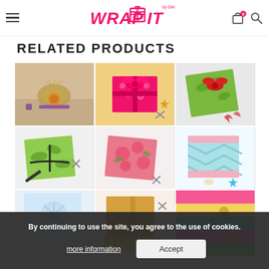Wrap It — navigation header with hamburger menu, logo, cart (0 items), and search icon
RELATED PRODUCTS
[Figure (photo): 3x3 grid of gift wrapping product photos showing colorfully wrapped gifts with ribbons, bows, and decorative paper on white backgrounds. Top row: kraft paper with fan decoration, hot pink/gold floral print with bow, green botanical print with red bow. Middle row: green botanical envelope/card, pink floral envelope, mint chevron card with pink ribbon. Bottom row: partially visible row of three more products.]
By continuing to use the site, you agree to the use of cookies.
more information
Accept